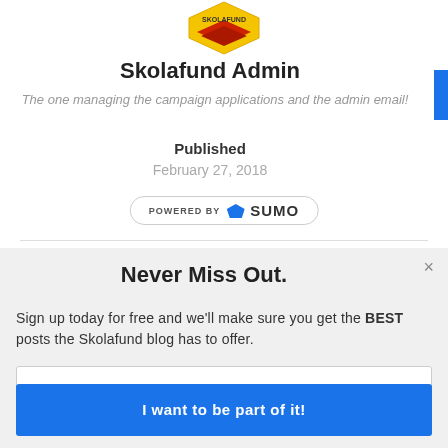[Figure (logo): Skolafund logo - shield shape with yellow and red colors, partially visible at top]
Skolafund Admin
The one managing the campaign applications and the admin email!
Published
February 27, 2018
[Figure (logo): Powered by SUMO badge with crown icon]
Never Miss Out.
Sign up today for free and we'll make sure you get the BEST posts the Skolafund blog has to offer.
My E-mail Address
I want to be part of it!